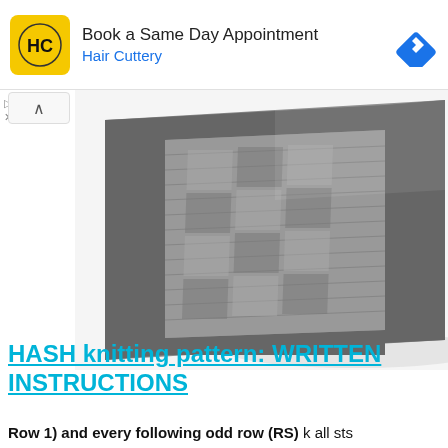[Figure (infographic): Hair Cuttery advertisement banner: yellow logo with HC letters, text 'Book a Same Day Appointment' and 'Hair Cuttery', blue navigation arrow icon on the right]
[Figure (photo): Close-up photo of a grey knitted fabric swatch showing a hash/basketweave stitch pattern with a textured border, photographed at an angle on a white background]
HASH knitting pattern: WRITTEN INSTRUCTIONS
Row 1) and every following odd row (RS) k all sts